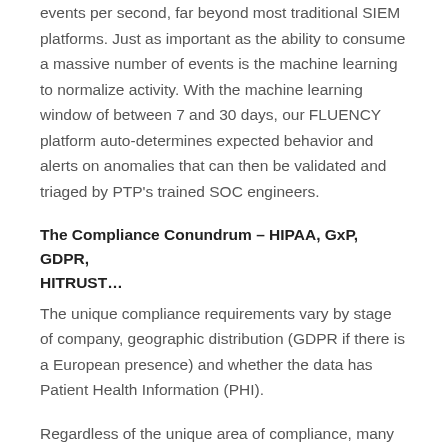events per second, far beyond most traditional SIEM platforms. Just as important as the ability to consume a massive number of events is the machine learning to normalize activity. With the machine learning window of between 7 and 30 days, our FLUENCY platform auto-determines expected behavior and alerts on anomalies that can then be validated and triaged by PTP's trained SOC engineers.
The Compliance Conundrum – HIPAA, GxP, GDPR, HITRUST…
The unique compliance requirements vary by stage of company, geographic distribution (GDPR if there is a European presence) and whether the data has Patient Health Information (PHI).
Regardless of the unique area of compliance, many of the frameworks are derivatives of the NIST Cybersecurity Framework or the SANS CIS Critical Security Controls and contain similar elements to